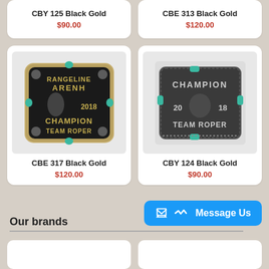CBY 125 Black Gold
$90.00
CBE 313 Black Gold
$120.00
[Figure (photo): Belt buckle labeled RANGELINE ARENH 2018 CHAMPION TEAM ROPER with turquoise stones, black and gold finish]
CBE 317 Black Gold
$120.00
[Figure (photo): Belt buckle labeled CHAMPION 2018 TEAM ROPER with turquoise stones, black and silver finish]
CBY 124 Black Gold
$90.00
Our brands
Message Us